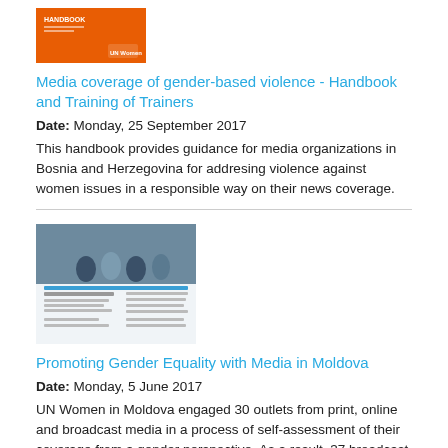[Figure (illustration): Thumbnail image of the handbook cover with orange background and UN Women logo]
Media coverage of gender-based violence - Handbook and Training of Trainers
Date: Monday, 25 September 2017
This handbook provides guidance for media organizations in Bosnia and Herzegovina for addresing violence against women issues in a responsible way on their news coverage.
[Figure (illustration): Thumbnail image of the Moldova gender equality media publication showing people at a meeting]
Promoting Gender Equality with Media in Moldova
Date: Monday, 5 June 2017
UN Women in Moldova engaged 30 outlets from print, online and broadcast media in a process of self-assessment of their coverage from a gender perspective. As a result, 37 broadcast, print and online media outlets signed a commitment to respect gender